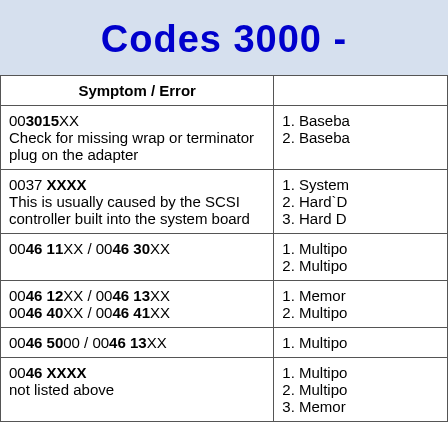Codes 3000 -
| Symptom / Error |  |
| --- | --- |
| 003015XX
Check for missing wrap or terminator plug on the adapter | 1. Baseba
2. Baseba |
| 0037 XXXX
This is usually caused by the SCSI controller built into the system board | 1. System
2. Hard`D
3. Hard D |
| 0046 11XX / 0046 30XX | 1. Multipo
2. Multipo |
| 0046 12XX / 0046 13XX
0046 40XX / 0046 41XX | 1. Memor
2. Multipo |
| 0046 5000 / 0046 13XX | 1. Multipo |
| 0046 XXXX
not listed above | 1. Multipo
2. Multipo
3. Memor |